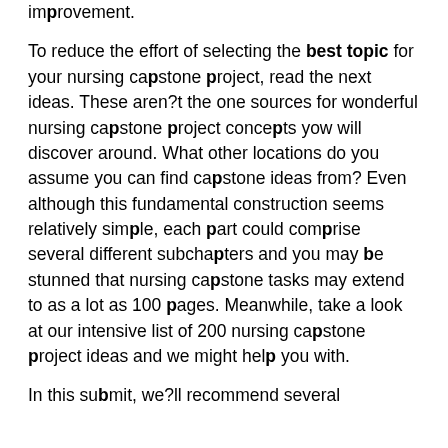improvement.
To reduce the effort of selecting the best topic for your nursing capstone project, read the next ideas. These aren?t the one sources for wonderful nursing capstone project concepts yow will discover around. What other locations do you assume you can find capstone ideas from? Even although this fundamental construction seems relatively simple, each part could comprise several different subchapters and you may be stunned that nursing capstone tasks may extend to as a lot as 100 pages. Meanwhile, take a look at our intensive list of 200 nursing capstone project ideas and we might help you with.
In this submit, we?ll recommend several